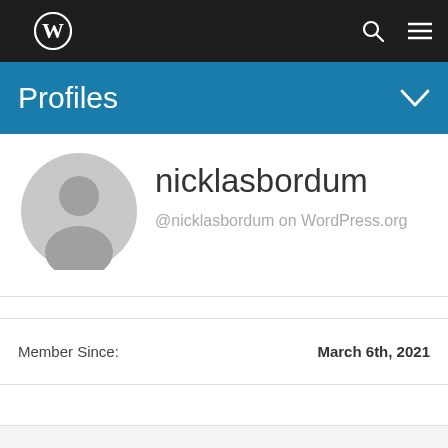WordPress navigation bar with logo, search icon, and menu icon
Profiles
[Figure (illustration): Generic user avatar — grey circle with silhouette of a person, no photo]
nicklasbordum
@nicklasbordum on WordPress.org
Member Since:   March 6th, 2021